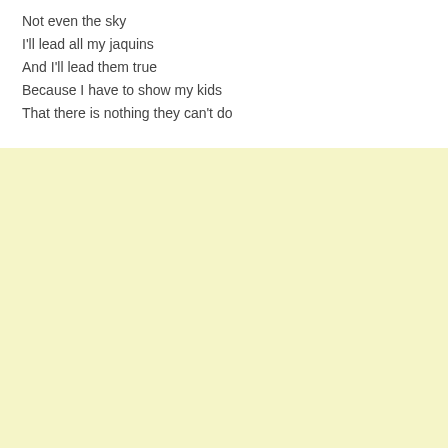Not even the sky
I'll lead all my jaquins
And I'll lead them true
Because I have to show my kids
That there is nothing they can't do